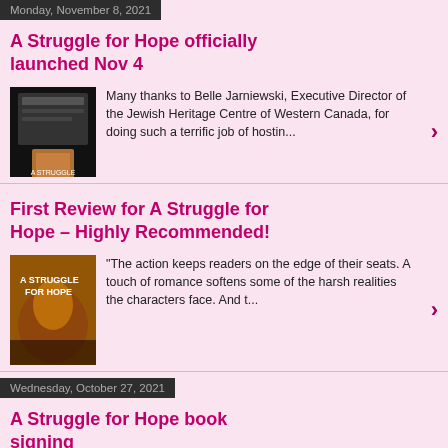Monday, November 8, 2021
A Struggle for Hope officially launched Nov 4
[Figure (photo): Dark screenshot of a book launch webpage]
Many thanks to Belle Jarniewski, Executive Director of the Jewish Heritage Centre of Western Canada, for doing such a terrific job of hostin...
First Review for A Struggle for Hope – Highly Recommended!
[Figure (photo): Book cover of A Struggle for Hope showing a girl with autumn leaves]
"The action keeps readers on the edge of their seats. A touch of romance softens some of the harsh realities the characters face. And t...
Wednesday, October 27, 2021
A Struggle for Hope book signing
[Figure (photo): Photo of books at a bookstore signing]
Delighted to sign books at McNally Robinson Booksellers. Click here to order A Struggle for Hope